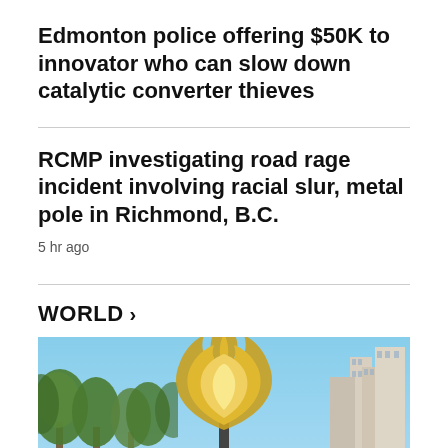Edmonton police offering $50K to innovator who can slow down catalytic converter thieves
RCMP investigating road rage incident involving racial slur, metal pole in Richmond, B.C.
5 hr ago
WORLD >
[Figure (photo): A large golden flame sculpture/torch on a pedestal in an outdoor urban setting, with trees and buildings in the background under a clear blue sky. People are visible at the bottom of the frame.]